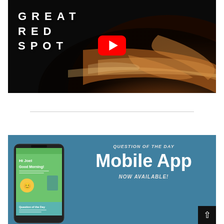[Figure (screenshot): YouTube video thumbnail showing Jupiter's Great Red Spot with white text reading GREAT RED SPOT and a red YouTube play button in the center. Dark swirling orange and brown planetary storm clouds fill the background.]
[Figure (infographic): Mobile app advertisement banner on teal/blue background. Shows a smartphone with a green app screen on the left. Text on right reads: QUESTION OF THE DAY, Mobile App, NOW AVAILABLE!]